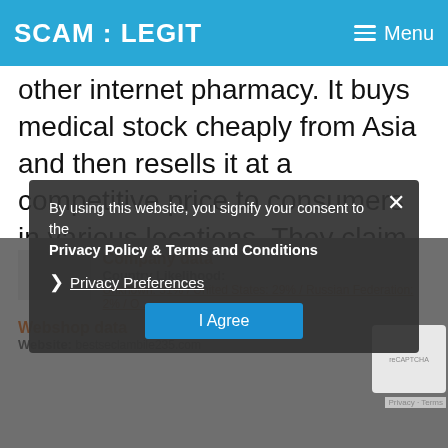SCAM : LEGIT   Menu
other internet pharmacy. It buys medical stock cheaply from Asia and then resells it at a competitive price to consumers in various locations. They claim to only stock the highest quality merchandise. And they have improved the appeal of their offerings by making available a money-back policy that allows consumers to receive full refunds in the event that their orders fail to deliver satisfaction. As with most internet pharmacies, this medical portal promises the utmost security for all the personal data and financial information gotten from pati...
By using this website, you signify your consent to the Privacy Policy & Terms and Conditions
❯ Privacy Preferences
I Agree
Company data
Country Likelihood: Unknown: 31% / United States: 29% / Russian Federation: 2% / O...
Webshop data
Website: bestseclambile235.com